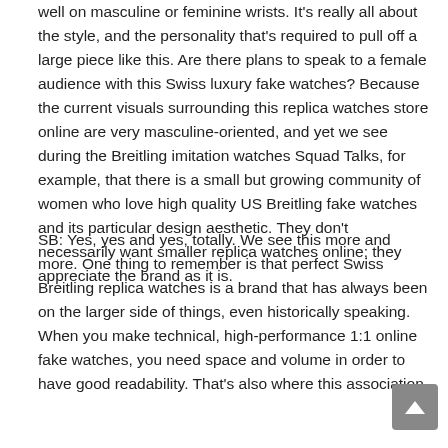well on masculine or feminine wrists. It's really all about the style, and the personality that's required to pull off a large piece like this. Are there plans to speak to a female audience with this Swiss luxury fake watches? Because the current visuals surrounding this replica watches store online are very masculine-oriented, and yet we see during the Breitling imitation watches Squad Talks, for example, that there is a small but growing community of women who love high quality US Breitling fake watches and its particular design aesthetic. They don't necessarily want smaller replica watches online; they appreciate the brand as it is.
SB: Yes, yes and yes, totally. We see this more and more. One thing to remember is that perfect Swiss Breitling replica watches is a brand that has always been on the larger side of things, even historically speaking. When you make technical, high-performance 1:1 online fake watches, you need space and volume in order to have good readability. That's also where this association